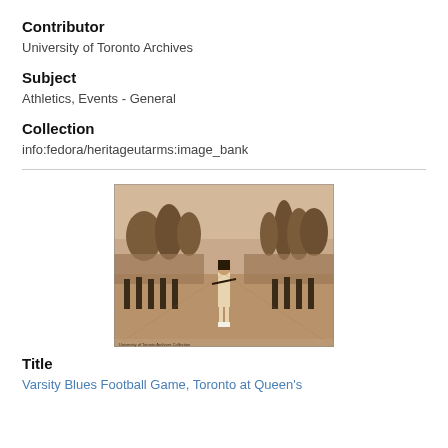Contributor
University of Toronto Archives
Subject
Athletics, Events - General
Collection
info:fedora/heritageutarms:image_bank
[Figure (photo): Sepia-toned photograph of a marching band or parade on a field, with a majorette or drum major in the foreground, trees and crowd visible in the background.]
Title
Varsity Blues Football Game, Toronto at Queen's